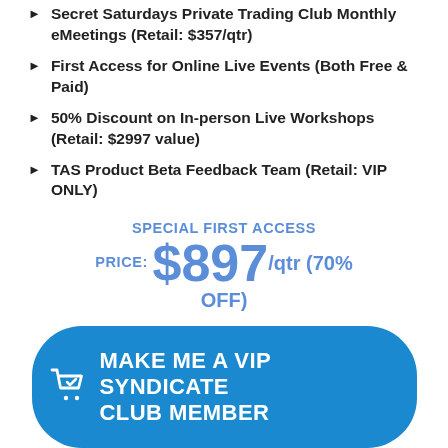Secret Saturdays Private Trading Club Monthly eMeetings (Retail: $357/qtr)
First Access for Online Live Events (Both Free & Paid)
50% Discount on In-person Live Workshops (Retail: $2997 value)
TAS Product Beta Feedback Team (Retail: VIP ONLY)
SPECIAL FIRST ACCESS PRICE: $897/qtr (70% OFF)
MAKE ME A VIP SYNDICATE CLUB MEMBER